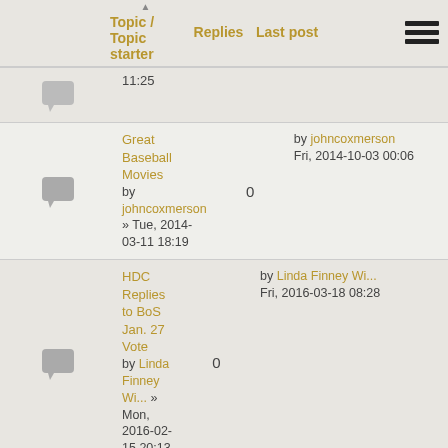| Topic / Topic starter | Replies | Last post |
| --- | --- | --- |
| Great Baseball Movies
by johncoxmerson » Tue, 2014-03-11 18:19 | 0 | by johncoxmerson
Fri, 2014-10-03 00:06 |
| HDC Replies to BoS Jan. 27 Vote
by Linda Finney Wi... » Mon, 2016-02-15 20:13 | 0 | by Linda Finney Wi...
Fri, 2016-03-18 08:28 |
| How they're viewed when they're back home
by Georgia Raysman » Mon, 2012-09-10 10:57 | 7 | by Rachel Dowling
Fri, 2014-10-03 00:06 |
| Inside Nantucket Video is ready for viewing
by Georgia Raysman » Mon, 2013-03-18 11:00 | 0 | by Georgia Raysman
Fri, 2014-10-03 00:06 |
| Internship Opportunity: Sconset Beach Preservation Fund
by 'Sconset Beach ... » Tue, 2016-04-19 21:32 | 0 | by 'Sconset Beach ...
Tue, 2016-04-19 21:32 |